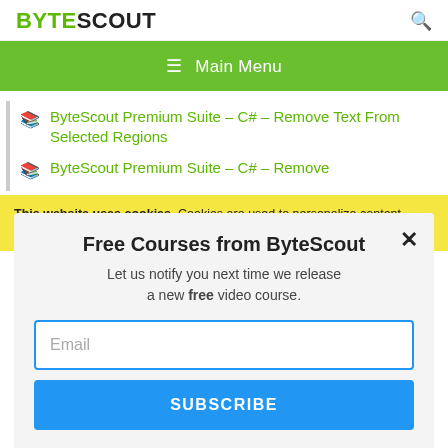BYTESCOUT
[Figure (other): Navigation bar with hamburger menu icon and 'Main Menu' text on green background]
ByteScout Premium Suite – C# – Remove Text From Selected Regions
ByteScout Premium Suite – C# – Remove
This website uses cookies. Cookies are used to personalize content, analyze traffic, provide social media features, display ads. We also share
Free Courses from ByteScout
Let us notify you next time we release a new free video course.
Email
SUBSCRIBE